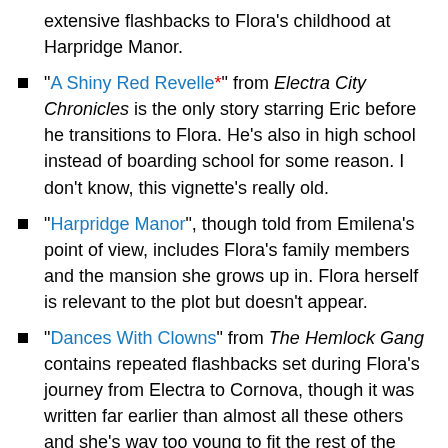extensive flashbacks to Flora's childhood at Harpridge Manor.
"A Shiny Red Revelle*" from Electra City Chronicles is the only story starring Eric before he transitions to Flora. He's also in high school instead of boarding school for some reason. I don't know, this vignette's really old.
"Harpridge Manor", though told from Emilena's point of view, includes Flora's family members and the mansion she grows up in. Flora herself is relevant to the plot but doesn't appear.
"Dances With Clowns" from The Hemlock Gang contains repeated flashbacks set during Flora's journey from Electra to Cornova, though it was written far earlier than almost all these others and she's way too young to fit the rest of the timeline.